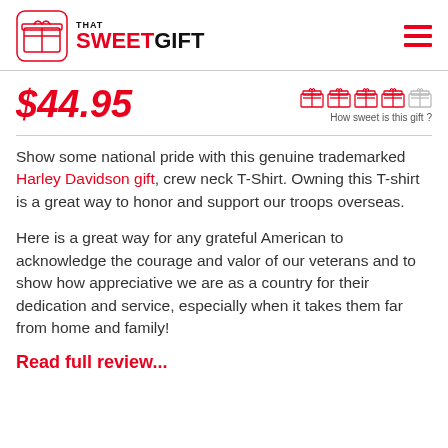THAT SWEETGIFT
$44.95
How sweet is this gift ?
Show some national pride with this genuine trademarked Harley Davidson gift, crew neck T-Shirt. Owning this T-shirt is a great way to honor and support our troops overseas.
Here is a great way for any grateful American to acknowledge the courage and valor of our veterans and to show how appreciative we are as a country for their dedication and service, especially when it takes them far from home and family!
Read full review...